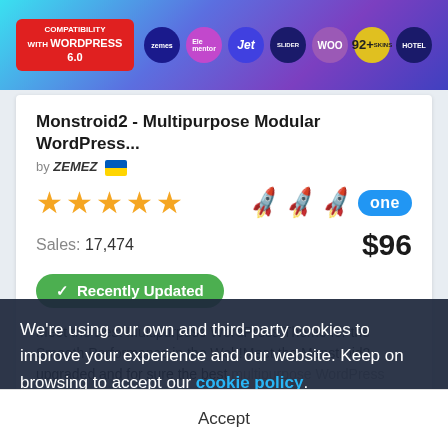[Figure (screenshot): WordPress theme marketplace banner with compatibility badge and plugin icons including Zemez, Elementor, Jet, Slider, WooCommerce, 92+ Skins, Hotel]
Monstroid2 - Multipurpose Modular WordPress...
by ZEMEZ 🇺🇦
[Figure (infographic): 5 gold stars rating, 3 rocket icons in orange-red, ONE badge in blue]
Sales: 17,474  $96
✓ Recently Updated
Meet the Best Multipurpose WordPress Theme for the Smooth Performance in the Web!Meet the Monstroid2 - upgraded and for sure the best multipurpose WordPress theme for any goal! All your sites can become stunning and more...
We're using our own and third-party cookies to improve your experience and our website. Keep on browsing to accept our cookie policy.
Accept